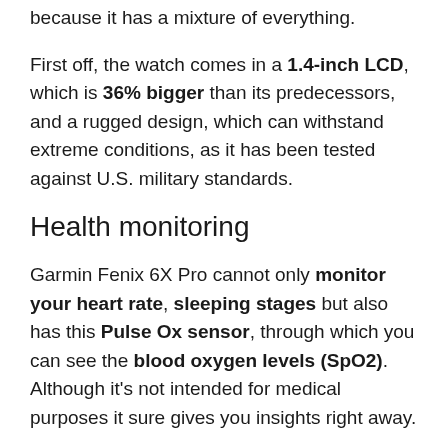because it has a mixture of everything.
First off, the watch comes in a 1.4-inch LCD, which is 36% bigger than its predecessors, and a rugged design, which can withstand extreme conditions, as it has been tested against U.S. military standards.
Health monitoring
Garmin Fenix 6X Pro cannot only monitor your heart rate, sleeping stages but also has this Pulse Ox sensor, through which you can see the blood oxygen levels (SpO2). Although it's not intended for medical purposes it sure gives you insights right away.
Multi-sports features